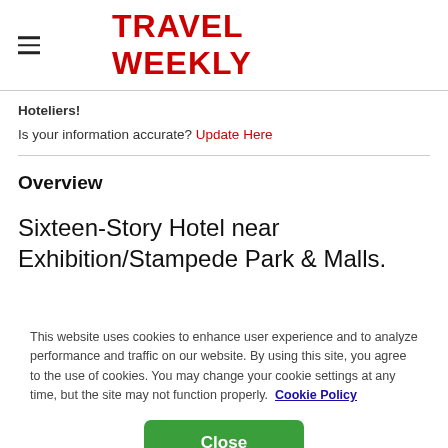TRAVEL WEEKLY
Hoteliers!
Is your information accurate? Update Here
Overview
Sixteen-Story Hotel near Exhibition/Stampede Park & Malls.
This website uses cookies to enhance user experience and to analyze performance and traffic on our website. By using this site, you agree to the use of cookies. You may change your cookie settings at any time, but the site may not function properly. Cookie Policy